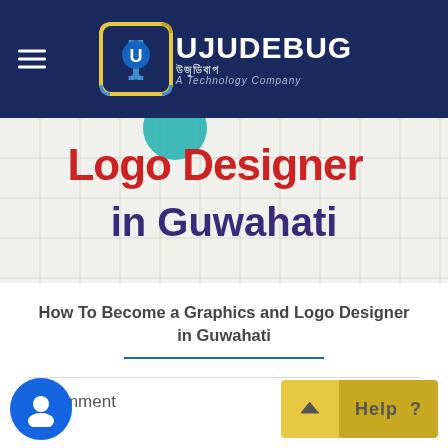UJUDEBUG উজুডিবাগ A Technology Company
[Figure (illustration): Logo Designer in Guwahati banner image with grid background, text 'Logo Designer in Guwahati' in red/purple colors]
How To Become a Graphics and Logo Designer in Guwahati
1 Comment